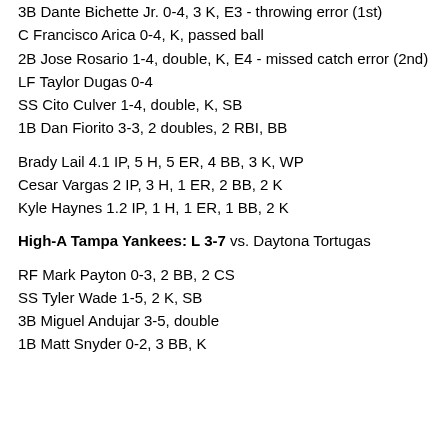3B Dante Bichette Jr. 0-4, 3 K, E3 - throwing error (1st)
C Francisco Arica 0-4, K, passed ball
2B Jose Rosario 1-4, double, K, E4 - missed catch error (2nd)
LF Taylor Dugas 0-4
SS Cito Culver 1-4, double, K, SB
1B Dan Fiorito 3-3, 2 doubles, 2 RBI, BB
Brady Lail 4.1 IP, 5 H, 5 ER, 4 BB, 3 K, WP
Cesar Vargas 2 IP, 3 H, 1 ER, 2 BB, 2 K
Kyle Haynes 1.2 IP, 1 H, 1 ER, 1 BB, 2 K
High-A Tampa Yankees: L 3-7 vs. Daytona Tortugas
RF Mark Payton 0-3, 2 BB, 2 CS
SS Tyler Wade 1-5, 2 K, SB
3B Miguel Andujar 3-5, double
1B Matt Snyder 0-2, 3 BB, K